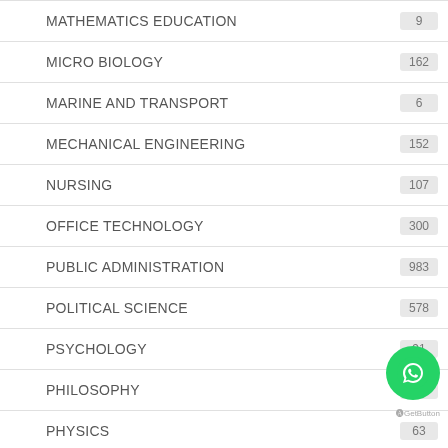MATHEMATICS EDUCATION
MICRO BIOLOGY
MARINE AND TRANSPORT
MECHANICAL ENGINEERING
NURSING
OFFICE TECHNOLOGY
PUBLIC ADMINISTRATION
POLITICAL SCIENCE
PSYCHOLOGY
PHILOSOPHY
PHYSICS
PROJECT MANAGEMENT